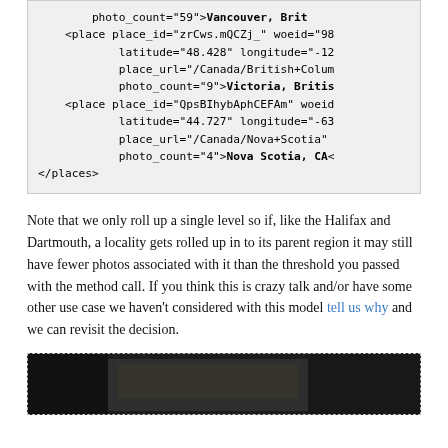photo_count="59">Vancouver, Brit
<place place_id="zrCws.mQCZj_" woeid="98"
        latitude="48.428" longitude="-12
        place_url="/Canada/British+Colum
        photo_count="9">Victoria, Britis
<place place_id="QpsBIhybAphCEFAm" woeid
        latitude="44.727" longitude="-63
        place_url="/Canada/Nova+Scotia"
        photo_count="4">Nova Scotia, CA<
</places>
Note that we only roll up a single level so if, like the Halifax and Dartmouth, a locality gets rolled up in to its parent region it may still have fewer photos associated with it than the threshold you passed with the method call. If you think this is crazy talk and/or have some other use case we haven't considered with this model tell us why and we can revisit the decision.
[Figure (photo): A dark photograph showing an indoor scene, partially visible at the bottom of the page.]